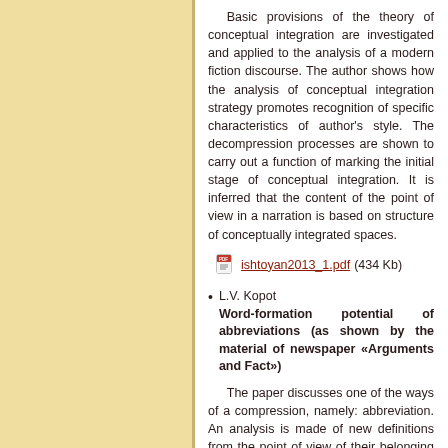Basic provisions of the theory of conceptual integration are investigated and applied to the analysis of a modern fiction discourse. The author shows how the analysis of conceptual integration strategy promotes recognition of specific characteristics of author's style. The decompression processes are shown to carry out a function of marking the initial stage of conceptual integration. It is inferred that the content of the point of view in a narration is based on structure of conceptually integrated spaces.
ishtoyan2013_1.pdf (434 Kb)
L.V. Kopot
Word-formation potential of abbreviations (as shown by the material of newspaper «Arguments and Fact»)
The paper discusses one of the ways of a compression, namely: abbreviation. An analysis is made of new definitions from the point of view of their belonging to a definite part of speech and ways of word formation.